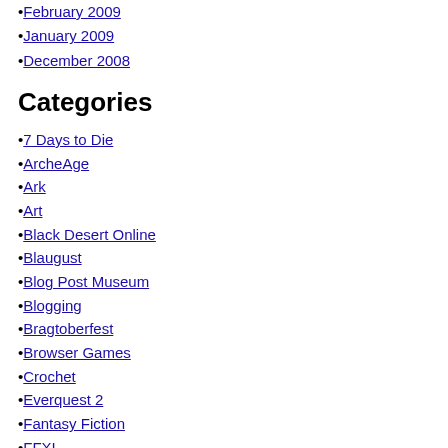February 2009
January 2009
December 2008
Categories
7 Days to Die
ArcheAge
Ark
Art
Black Desert Online
Blaugust
Blog Post Museum
Blogging
Bragtoberfest
Browser Games
Crochet
Everquest 2
Fantasy Fiction
FFXI
FFXIV
Fiction Writing
Fiddle
Gaming
Geek Stuff